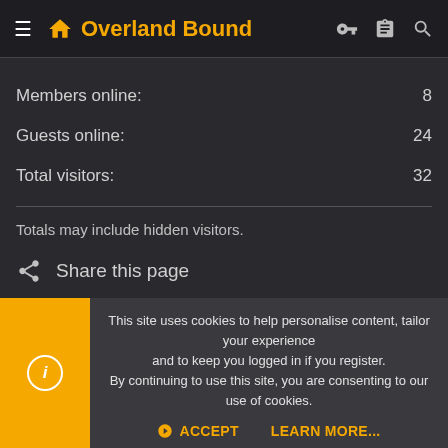Overland Bound
Members online: 8
Guests online: 24
Total visitors: 32
Totals may include hidden visitors.
Share this page
SHARE THIS PAGE
This site uses cookies to help personalise content, tailor your experience and to keep you logged in if you register.
By continuing to use this site, you are consenting to our use of cookies.
ACCEPT
LEARN MORE...